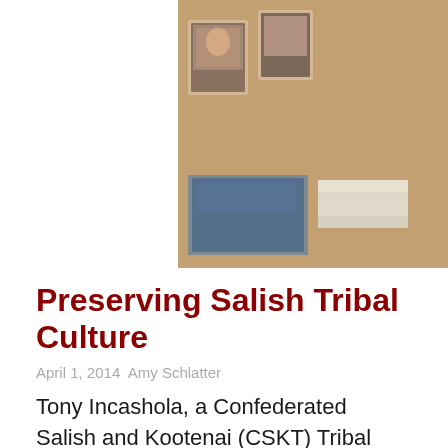[Figure (photo): A man wearing a green polo shirt standing in front of a wall covered with framed photos, colorful beaded decorations, and papers/clipboards. The setting appears to be a cultural center or similar space.]
Preserving Salish Tribal Culture
April 1, 2014  Amy Schlatter
Tony Incashola, a Confederated Salish and Kootenai (CSKT) Tribal Elder, has been serving the Salish-Pend d'Oreille Culture Committee for 39 years. His service began with a call from